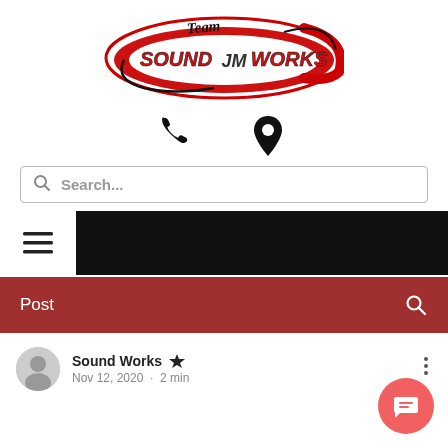[Figure (logo): Team Sound Works logo — oval shape with red swoosh, text 'Team SOUND JM WORKS' in bold red and black lettering]
[Figure (infographic): Phone icon and location pin icon side by side]
Search...
[Figure (screenshot): Black navigation bar with white hamburger menu icon on left]
Post
Sound Works  Nov 12, 2020 · 2 min